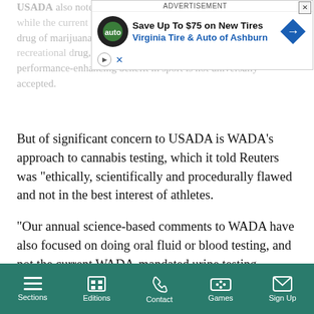USADA also noted in its letter to the Congress members that while the current need to take b... legalization of the use of marijuana, many people still consider cannabis to be a recreational drug, and the argument that cannabis has no performance-enhancing benefit in sport is not universally accepted.
[Figure (other): Advertisement overlay for Virginia Tire & Auto of Ashburn: Save Up To $75 on New Tires]
But of significant concern to USADA is WADA’s approach to cannabis testing, which it told Reuters was “ethically, scientifically and procedurally flawed and not in the best interest of athletes.
“Our annual science-based comments to WADA have also focused on doing oral fluid or blood testing, and not the current WADA-mandated urine testing approach, to ensure those who may choose to legally use marijuana out-of-competition, which is allowed by
Sections  Editions  Contact  Games  Sign Up